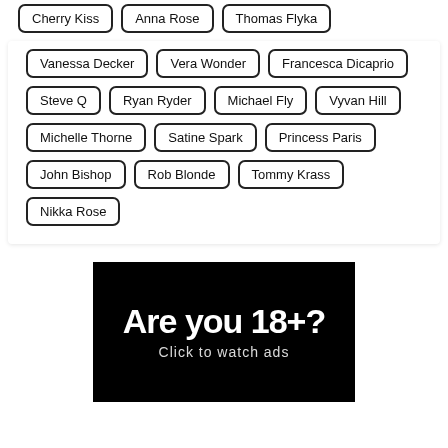Cherry Kiss
Anna Rose
Thomas Flyka
Vanessa Decker
Vera Wonder
Francesca Dicaprio
Steve Q
Ryan Ryder
Michael Fly
Vyvan Hill
Michelle Thorne
Satine Spark
Princess Paris
John Bishop
Rob Blonde
Tommy Krass
Nikka Rose
[Figure (other): Black banner advertisement with white bold text reading 'Are you 18+?' and smaller text 'Click to watch ads']